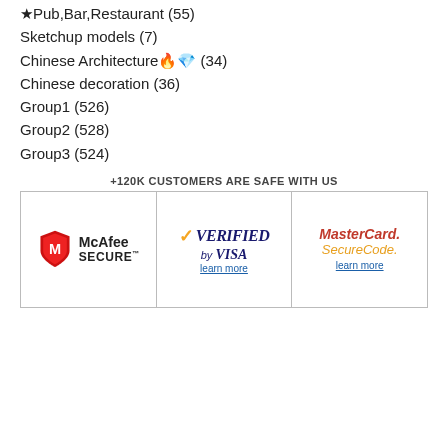★ Pub,Bar,Restaurant (55)
Sketchup models (7)
Chinese Architecture 🔥💎 (34)
Chinese decoration (36)
Group1 (526)
Group2 (528)
Group3 (524)
+120K CUSTOMERS ARE SAFE WITH US
[Figure (infographic): Trust badges row: McAfee SECURE, Verified by VISA (learn more), MasterCard SecureCode (learn more)]